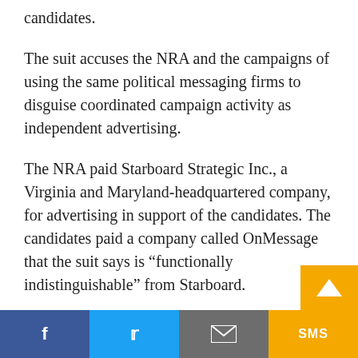coordinated messaging on behalf of political candidates.
The suit accuses the NRA and the campaigns of using the same political messaging firms to disguise coordinated campaign activity as independent advertising.
The NRA paid Starboard Strategic Inc., a Virginia and Maryland-headquartered company, for advertising in support of the candidates. The candidates paid a company called OnMessage that the suit says is “functionally indistinguishable” from Starboard.
“They are led by the same people and located…